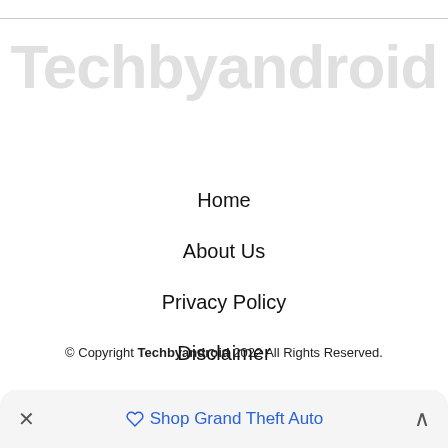[Figure (logo): Techbyandroid watermark text in large light gray letters]
Home
About Us
Privacy Policy
Disclaimer
Contact Us
© Copyright Techbyandroid 2022 All Rights Reserved.
Shop Grand Theft Auto